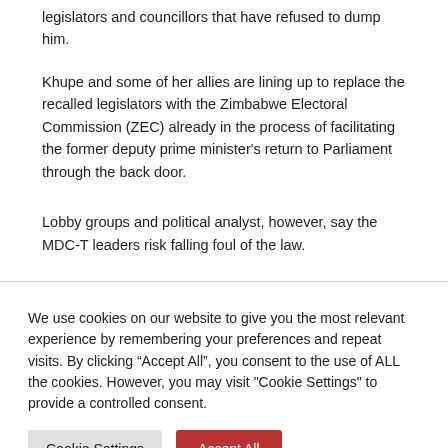legislators and councillors that have refused to dump him.
Khupe and some of her allies are lining up to replace the recalled legislators with the Zimbabwe Electoral Commission (ZEC) already in the process of facilitating the former deputy prime minister’s return to Parliament through the back door.
Lobby groups and political analyst, however, say the MDC-T leaders risk falling foul of the law.
We use cookies on our website to give you the most relevant experience by remembering your preferences and repeat visits. By clicking “Accept All”, you consent to the use of ALL the cookies. However, you may visit "Cookie Settings" to provide a controlled consent.